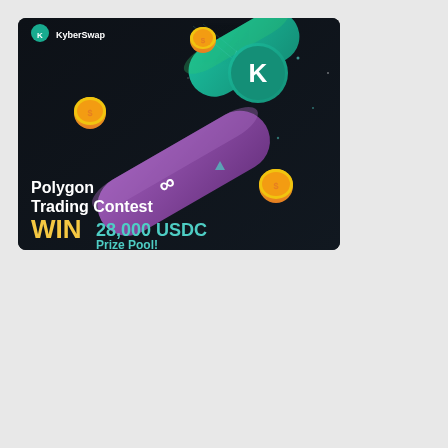[Figure (illustration): KyberSwap Polygon Trading Contest promotional banner. Dark background with purple and teal cylindrical tubes, gold coins, and the KyberSwap logo. Text reads: Polygon Trading Contest WIN 28,000 USDC Prize Pool!]